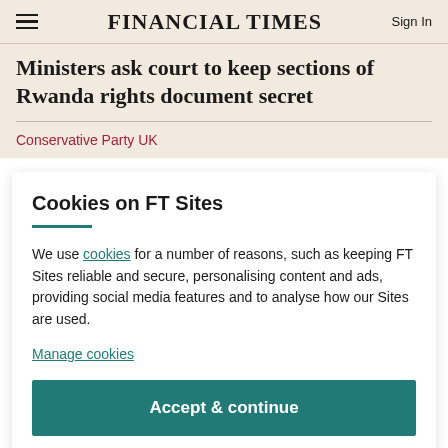FINANCIAL TIMES
Ministers ask court to keep sections of Rwanda rights document secret
Conservative Party UK
Cookies on FT Sites
We use cookies for a number of reasons, such as keeping FT Sites reliable and secure, personalising content and ads, providing social media features and to analyse how our Sites are used.
Manage cookies
Accept & continue